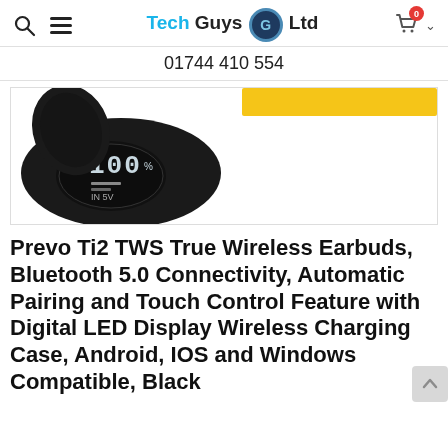Tech Guys Ltd — 01744 410 554
[Figure (photo): Black TWS earbuds charging case with LED display showing '100%' and 'IN 5V', with a yellow add-to-cart button visible in the upper right of the product image area.]
Prevo Ti2 TWS True Wireless Earbuds, Bluetooth 5.0 Connectivity, Automatic Pairing and Touch Control Feature with Digital LED Display Wireless Charging Case, Android, IOS and Windows Compatible, Black